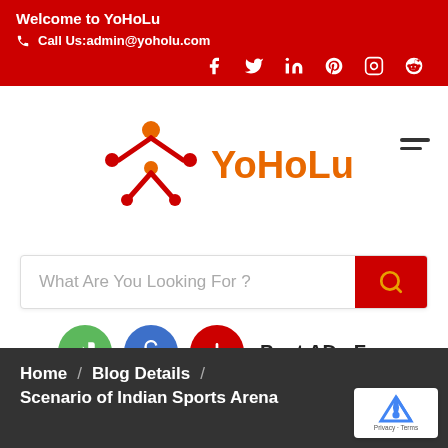Welcome to YoHoLu
Call Us:admin@yoholu.com
[Figure (infographic): Social media icons: Facebook, Twitter, LinkedIn, Pinterest, Instagram, Reddit on red background]
[Figure (logo): YoHoLu logo with orange figure icon and orange text YoHoLu]
What Are You Looking For ?
[Figure (infographic): Three circular action buttons (green login, blue unlock, red plus) followed by text Post ADs Free]
Post ADs Free
Home / Blog Details / Scenario of Indian Sports Arena